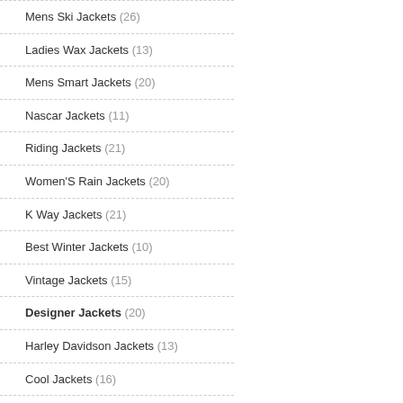Mens Ski Jackets (26)
Ladies Wax Jackets (13)
Mens Smart Jackets (20)
Nascar Jackets (11)
Riding Jackets (21)
Women'S Rain Jackets (20)
K Way Jackets (21)
Best Winter Jackets (10)
Vintage Jackets (15)
Designer Jackets (20)
Harley Davidson Jackets (13)
Cool Jackets (16)
Kids Rain Jackets (23)
Hh Jackets (23)
Women'S Motorcycle Jackets (16)
Letterman Jackets (13)